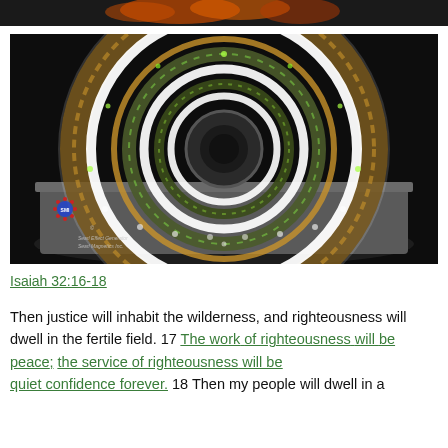[Figure (photo): Partial top strip of an image showing orange/red flames or glow against dark background]
[Figure (photo): Searl Effect Generator (SEG) - a circular magnetic device with concentric rings, glowing green/white lights, arranged on a dark background platform. Shows copper-colored cylindrical rollers arranged in a large ring, with concentric white circular rings emanating from center. SMI logo with blue circle visible at lower left. Caption: 'Searl Effect Generator / Searl Magnetics Inc.']
Isaiah 32:16-18
Then justice will inhabit the wilderness, and righteousness will dwell in the fertile field. 17 The work of righteousness will be peace; the service of righteousness will be quiet confidence forever. 18 Then my people will dwell in a